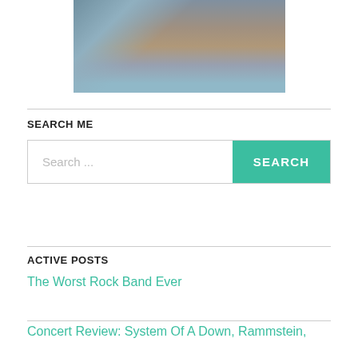[Figure (photo): Close-up photo of elderly hands resting near water bottles, person wearing blue/teal clothing]
SEARCH ME
Search ...
SEARCH
ACTIVE POSTS
The Worst Rock Band Ever
Concert Review: System Of A Down, Rammstein,